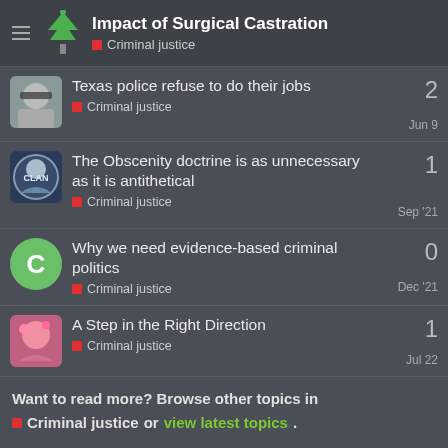Impact of Surgical Castration — Criminal justice
Texas police refuse to do their jobs — Criminal justice — 2 — Jun 9
The Obscenity doctrine is as unnecessary as it is antithetical — Criminal justice — 1 — Sep '21
Why we need evidence-based criminal politics — Criminal justice — 0 — Dec '21
A Step in the Right Direction — Criminal justice — 1 — Jul 22
Want to read more? Browse other topics in Criminal justice or view latest topics.